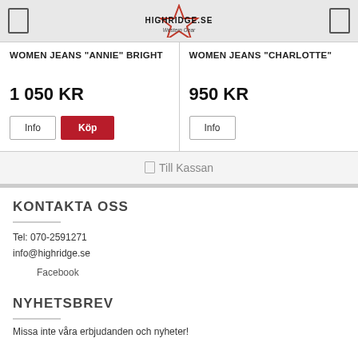HIGHRIDGE.SE Western Gear
WOMEN JEANS "ANNIE" BRIGHT
1 050 KR
WOMEN JEANS "CHARLOTTE"
950 KR
Till Kassan
KONTAKTA OSS
Tel: 070-2591271
info@highridge.se
Facebook
NYHETSBREV
Missa inte våra erbjudanden och nyheter!